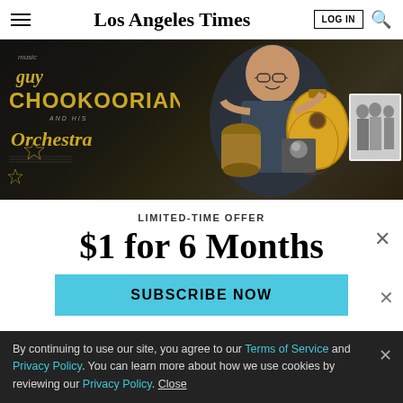Los Angeles Times
[Figure (photo): A man smiling and holding musical instruments including a drum and an oud/lute, with a sign reading 'Guy Chookoorian and his Orchestra' in gold lettering on a dark background. Black and white photo of performers visible on the right.]
LIMITED-TIME OFFER
$1 for 6 Months
SUBSCRIBE NOW
By continuing to use our site, you agree to our Terms of Service and Privacy Policy. You can learn more about how we use cookies by reviewing our Privacy Policy. Close